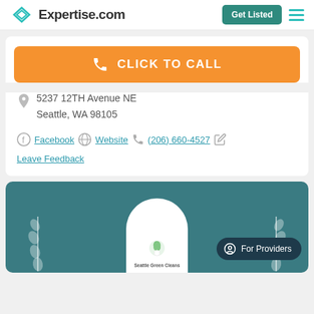Expertise.com | Get Listed
CLICK TO CALL
5237 12TH Avenue NE
Seattle, WA 98105
Facebook | Website | (206) 660-4527 | Leave Feedback
[Figure (screenshot): Teal section with laurel decorations, circular company logo area showing 'Seattle Green Cleans' text, and a 'For Providers' button]